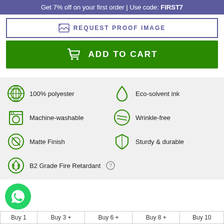Get 7% off on your first order | Use code: FIRST7
[Figure (screenshot): Request Proof Image button with image icon, purple border]
[Figure (screenshot): Add to Cart green button with shopping cart icon]
100% polyester
Eco-solvent ink
Machine-washable
Wrinkle-free
Matte Finish
Sturdy & durable
B2 Grade Fire Retardant
| Buy 1 | Buy 3 + | Buy 6 + | Buy 8 + | Buy 10 |
| --- | --- | --- | --- | --- |